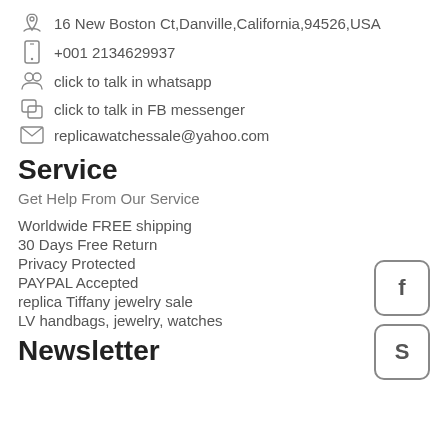16 New Boston Ct,Danville,California,94526,USA
+001 2134629937
click to talk in whatsapp
click to talk in FB messenger
replicawatchessale@yahoo.com
Service
Get Help From Our Service
Worldwide FREE shipping
30 Days Free Return
Privacy Protected
PAYPAL Accepted
replica Tiffany jewelry sale
LV handbags, jewelry, watches
Newsletter